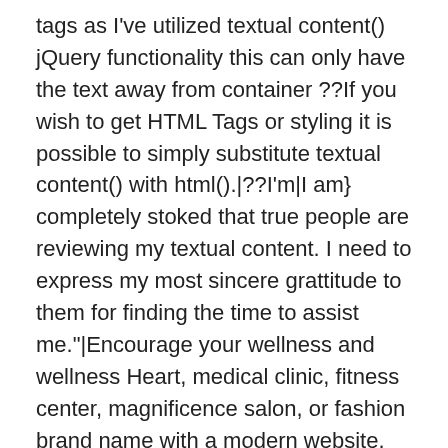tags as I've utilized textual content() jQuery functionality this can only have the text away from container ??If you wish to get HTML Tags or styling it is possible to simply substitute textual content() with html().|??I'm|I am} completely stoked that true people are reviewing my textual content. I need to express my most sincere grattitude to them for finding the time to assist me."|Encourage your wellness and wellness Heart, medical clinic, fitness center, magnificence salon, or fashion brand name with a modern website. Exhibit your products and solutions or solutions easily and record the unique advantages of your brand name.|For those who compose extended content material, it might be time-consuming and tiring to proofread every piece of work you develop. The better utilization of enough time is probably to not obsess about just one report or essay for times. Our Software saves your time and efforts by